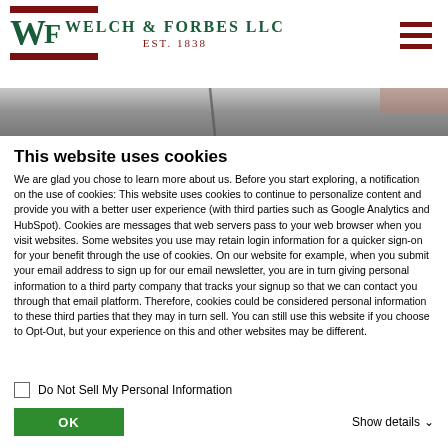[Figure (logo): Welch & Forbes LLC logo with WF monogram in green, company name in green capitals, EST. 1838 in dark red, with dark red horizontal bars above and below]
[Figure (photo): Partial hero/banner image, appears to be a blurred interior or surface photograph]
This website uses cookies
We are glad you chose to learn more about us. Before you start exploring, a notification on the use of cookies: This website uses cookies to continue to personalize content and provide you with a better user experience (with third parties such as Google Analytics and HubSpot). Cookies are messages that web servers pass to your web browser when you visit websites. Some websites you use may retain login information for a quicker sign-on for your benefit through the use of cookies. On our website for example, when you submit your email address to sign up for our email newsletter, you are in turn giving personal information to a third party company that tracks your signup so that we can contact you through that email platform. Therefore, cookies could be considered personal information to these third parties that they may in turn sell. You can still use this website if you choose to Opt-Out, but your experience on this and other websites may be different.
Do Not Sell My Personal Information
OK
Show details